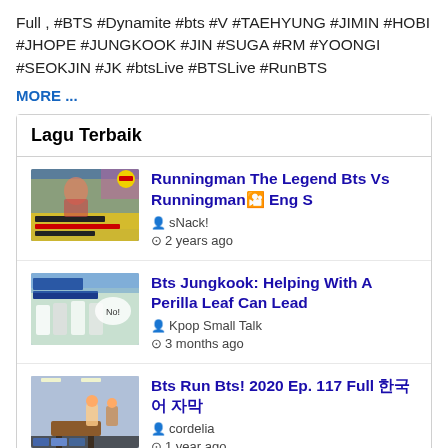Full , #BTS #Dynamite #bts #V #TAEHYUNG #JIMIN #HOBI #JHOPE #JUNGKOOK #JIN #SUGA #RM #YOONGI #SEOKJIN #JK #btsLive #BTSLive #RunBTS
MORE ...
Lagu Terbaik
[Figure (screenshot): Thumbnail of Runningman Legend BTS on Running Man video]
Runningman The Legend Bts Vs Runningman🎦 Eng S
🧑sNack!
⊙ 2 years ago
[Figure (screenshot): Thumbnail of BTS Perilla Leaf Debate video]
Bts Jungkook: Helping With A Perilla Leaf Can Lead
🧑Kpop Small Talk
⊙ 3 months ago
[Figure (screenshot): Thumbnail of Bts Run Bts 2020 Ep. 117 video]
Bts Run Bts! 2020 Ep. 117 Full 한국어 자막
🧑cordelia
⊙ 1 year ago